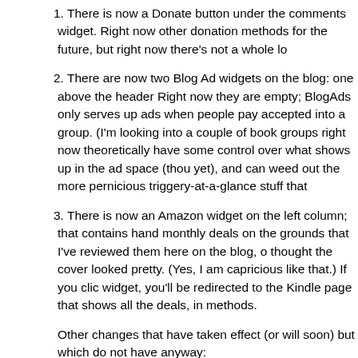1. There is now a Donate button under the comments widget. Right now other donation methods for the future, but right now there's not a whole lo
2. There are now two Blog Ad widgets on the blog: one above the header Right now they are empty; BlogAds only serves up ads when people pay accepted into a group. (I'm looking into a couple of book groups right now theoretically have some control over what shows up in the ad space (thou yet), and can weed out the more pernicious triggery-at-a-glance stuff that
3. There is now an Amazon widget on the left column; that contains hand monthly deals on the grounds that I've reviewed them here on the blog, o thought the cover looked pretty. (Yes, I am capricious like that.) If you clic widget, you'll be redirected to the Kindle page that shows all the deals, in methods.
Other changes that have taken effect (or will soon) but which do not have anyway:
4. Most of the deconstruction posts will henceforth have a "Read more..." page like they once did. This is for reasons of safe spaceyness -- it doesn [trigger] if scrolling down to the previous post means you might land on th So the cut is to let people actively decide if they want to enter and read th